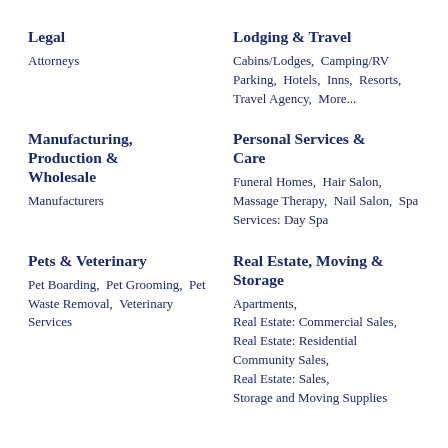Legal
Attorneys
Lodging & Travel
Cabins/Lodges, Camping/RV Parking, Hotels, Inns, Resorts, Travel Agency, More...
Manufacturing, Production & Wholesale
Manufacturers
Personal Services & Care
Funeral Homes, Hair Salon, Massage Therapy, Nail Salon, Spa Services: Day Spa
Pets & Veterinary
Pet Boarding, Pet Grooming, Pet Waste Removal, Veterinary Services
Real Estate, Moving & Storage
Apartments, Real Estate: Commercial Sales, Real Estate: Residential Community Sales, Real Estate: Sales, Storage and Moving Supplies